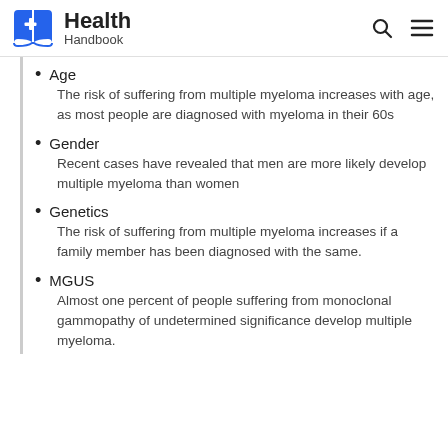Health Handbook
Age
The risk of suffering from multiple myeloma increases with age, as most people are diagnosed with myeloma in their 60s
Gender
Recent cases have revealed that men are more likely develop multiple myeloma than women
Genetics
The risk of suffering from multiple myeloma increases if a family member has been diagnosed with the same.
MGUS
Almost one percent of people suffering from monoclonal gammopathy of undetermined significance develop multiple myeloma.